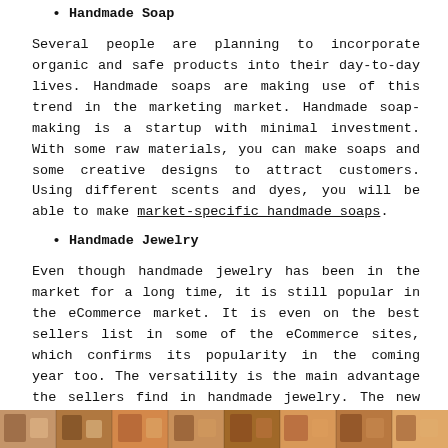Handmade Soap
Several people are planning to incorporate organic and safe products into their day-to-day lives. Handmade soaps are making use of this trend in the marketing market. Handmade soap-making is a startup with minimal investment. With some raw materials, you can make soaps and some creative designs to attract customers. Using different scents and dyes, you will be able to make market-specific handmade soaps.
Handmade Jewelry
Even though handmade jewelry has been in the market for a long time, it is still popular in the eCommerce market. It is even on the best sellers list in some of the eCommerce sites, which confirms its popularity in the coming year too. The versatility is the main advantage the sellers find in handmade jewelry. The new designs and styles are made to fit any niche or occasion. While some sellers stick to the most selling traditional designs, some others are experimenting on the esoteric styles.
[Figure (photo): A colorful strip of photos showing various handmade jewelry or craft items with warm tones at the bottom of the page.]